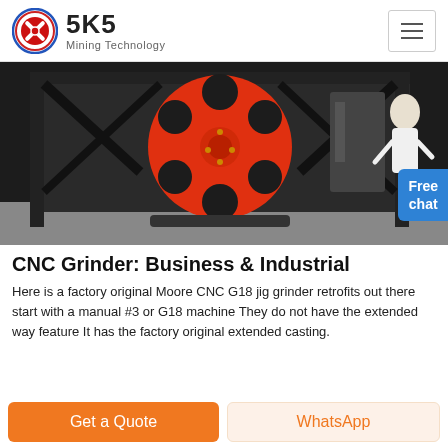SKS Mining Technology
[Figure (photo): A large industrial CNC grinder machine with a prominent red flywheel/pulley on a black metal frame, shown in a factory/workshop setting. A person in white coat visible at the right edge with a 'Free chat' badge overlay.]
CNC Grinder: Business & Industrial
Here is a factory original Moore CNC G18 jig grinder retrofits out there start with a manual #3 or G18 machine They do not have the extended way feature It has the factory original extended casting.